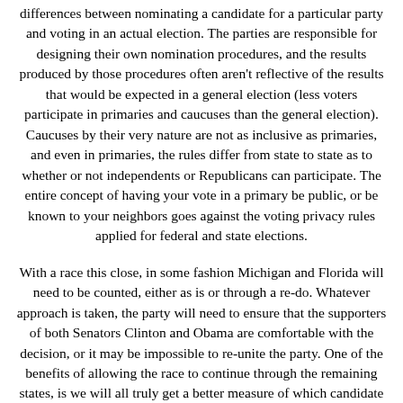differences between nominating a candidate for a particular party and voting in an actual election. The parties are responsible for designing their own nomination procedures, and the results produced by those procedures often aren't reflective of the results that would be expected in a general election (less voters participate in primaries and caucuses than the general election). Caucuses by their very nature are not as inclusive as primaries, and even in primaries, the rules differ from state to state as to whether or not independents or Republicans can participate. The entire concept of having your vote in a primary be public, or be known to your neighbors goes against the voting privacy rules applied for federal and state elections.
With a race this close, in some fashion Michigan and Florida will need to be counted, either as is or through a re-do. Whatever approach is taken, the party will need to ensure that the supporters of both Senators Clinton and Obama are comfortable with the decision, or it may be impossible to re-unite the party. One of the benefits of allowing the race to continue through the remaining states, is we will all truly get a better measure of which candidate is the most electable - and, shouldn't that be in the best interest of the party?
For the future, I think the Democrats should drop caucuses,